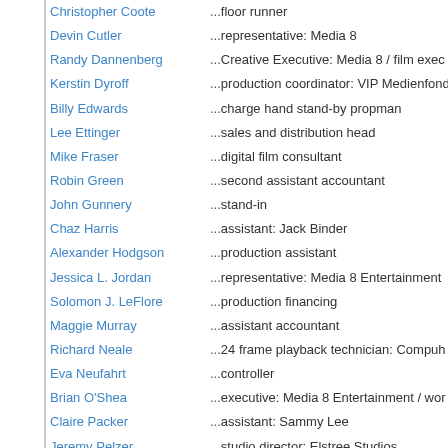| Name |  | Role |
| --- | --- | --- |
| Christopher Coote | ... | floor runner |
| Devin Cutler | ... | representative: Media 8 |
| Randy Dannenberg | ... | Creative Executive: Media 8 / film exec |
| Kerstin Dyroff | ... | production coordinator: VIP Medienfond |
| Billy Edwards | ... | charge hand stand-by propman |
| Lee Ettinger | ... | sales and distribution head |
| Mike Fraser | ... | digital film consultant |
| Robin Green | ... | second assistant accountant |
| John Gunnery | ... | stand-in |
| Chaz Harris | ... | assistant: Jack Binder |
| Alexander Hodgson | ... | production assistant |
| Jessica L. Jordan | ... | representative: Media 8 Entertainment |
| Solomon J. LeFlore | ... | production financing |
| Maggie Murray | ... | assistant accountant |
| Richard Neale | ... | 24 frame playback technician: Compuh |
| Eva Neufahrt | ... | controller |
| Brian O'Shea | ... | executive: Media 8 Entertainment / wor |
| Claire Packer | ... | assistant: Sammy Lee |
| Jeremy Pelzer | ... | studio director: Elstree Studios |
| Aris Piliguian | ... | assistant: Alex Gartner |
| Pam Plummer | ... | assistant: Joan Allen |
| Shaun Redick | ... | sales agent |
| Deborah Ricketts | ... | archive researcher |
| Bill Ridealgh | ... | unit medic |